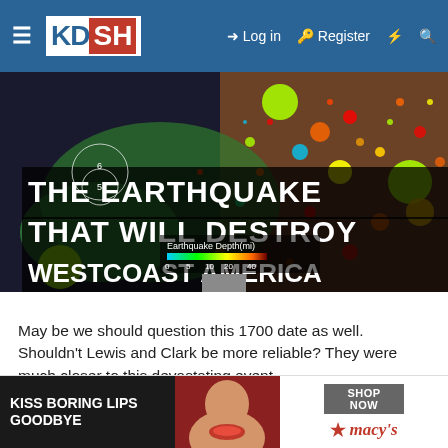KDSH — Log in — Register
[Figure (photo): Earthquake depth map visualization of the West Coast of America showing colored dots representing earthquake locations and depths, with text overlay reading 'THE EARTHQUAKE THAT WILL DESTROY WESTCOAST AMERICA' and a legend showing Earthquake Depth (mi) with color scale 0-40]
May be we should question this 1700 date as well. Shouldn't Lewis and Clark be more reliable? They were much closer to this devastating event.
1855 Source
de whic ... e water ... ong its m ... with the ... ming up ... visible ... fixed at